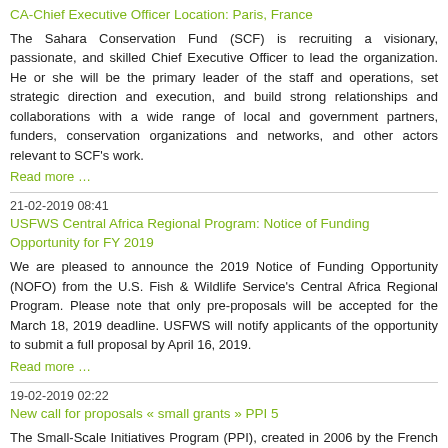CA-Chief Executive Officer Location: Paris, France
The Sahara Conservation Fund (SCF) is recruiting a visionary, passionate, and skilled Chief Executive Officer to lead the organization. He or she will be the primary leader of the staff and operations, set strategic direction and execution, and build strong relationships and collaborations with a wide range of local and government partners, funders, conservation organizations and networks, and other actors relevant to SCF’s work.
Read more …
21-02-2019 08:41
USFWS Central Africa Regional Program: Notice of Funding Opportunity for FY 2019
We are pleased to announce the 2019 Notice of Funding Opportunity (NOFO) from the U.S. Fish & Wildlife Service’s Central Africa Regional Program. Please note that only pre-proposals will be accepted for the March 18, 2019 deadline. USFWS will notify applicants of the opportunity to submit a full proposal by April 16, 2019.
Read more …
19-02-2019 02:22
New call for proposals « small grants » PPI 5
The Small-Scale Initiatives Program (PPI), created in 2006 by the French Facility for Global Environment (FFEM), and implemented by the French Committee of IUCN (IUCN France), in partnership with the IUCN Central and West Africa Program (IUCN PACO), launches a new call for proposals “small grants” projects. Deadline for sending pre-proposal forms: 31st of March 2019 (6.00 pm, Paris Time GMT+1).
Read more …
14-02-2019 09:31